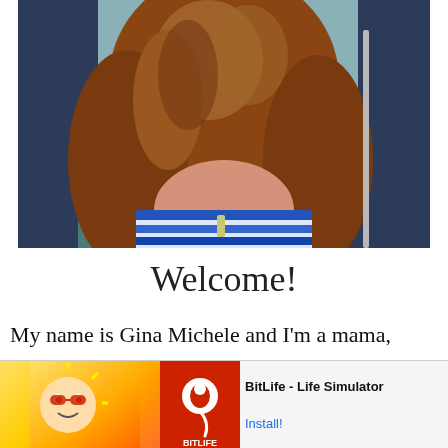[Figure (photo): Portrait photo of a woman with long auburn/red wavy hair, wearing a blue and white striped strapless top, seated outdoors. Photo is cropped to show from mid-torso upward, face not visible.]
Welcome!
My name is Gina Michele and I'm a mama, maker, and lover of beautiful things. Here you
[Figure (screenshot): Advertisement banner for BitLife - Life Simulator app. Shows Ad label, cartoon character graphic on yellow/orange background, red box with BitLife sperm logo, and text 'BitLife - Life Simulator' with 'Install!' button in blue.]